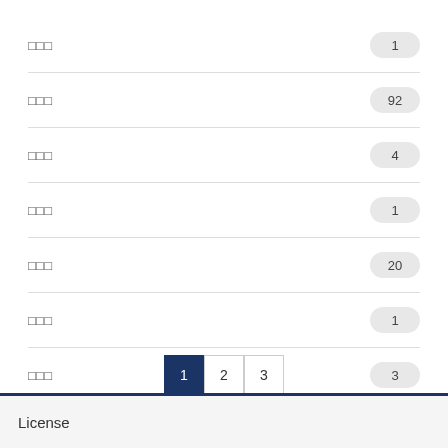□□□  1
□□□  92
□□□  4
□□□  1
□□□  20
□□□  1
□□□  3
1  2  3
License